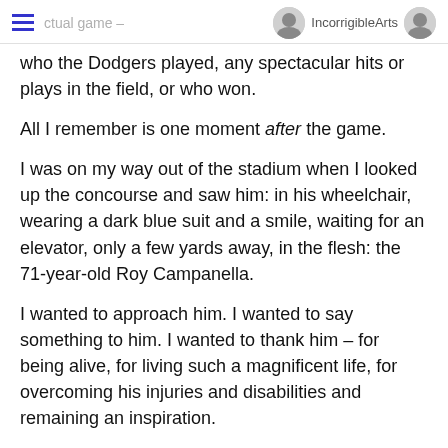actual game — IncorrigibleArts
who the Dodgers played, any spectacular hits or plays in the field, or who won.
All I remember is one moment after the game.
I was on my way out of the stadium when I looked up the concourse and saw him: in his wheelchair, wearing a dark blue suit and a smile, waiting for an elevator, only a few yards away, in the flesh: the 71-year-old Roy Campanella.
I wanted to approach him. I wanted to say something to him. I wanted to thank him – for being alive, for living such a magnificent life, for overcoming his injuries and disabilities and remaining an inspiration.
But…
I whiffed it.